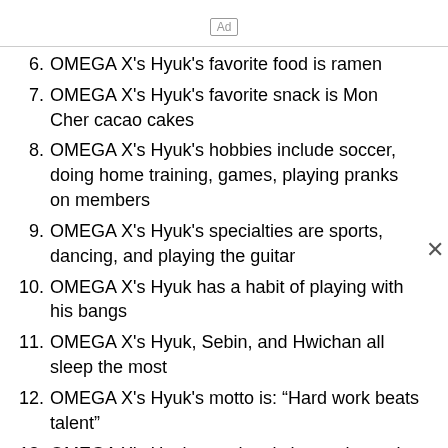6. OMEGA X's Hyuk's favorite food is ramen
7. OMEGA X's Hyuk's favorite snack is Mon Cher cacao cakes
8. OMEGA X's Hyuk's hobbies include soccer, doing home training, games, playing pranks on members
9. OMEGA X's Hyuk's specialties are sports, dancing, and playing the guitar
10. OMEGA X's Hyuk has a habit of playing with his bangs
11. OMEGA X's Hyuk, Sebin, and Hwichan all sleep the most
12. OMEGA X's Hyuk's motto is: “Hard work beats talent”
13. OMEGA X's Hyuk was the sixth member to be revealed. The roman numerals at the end of his debut trailer represent his birthday (CCCXV = 315 [March 15th])
14. OMEGA X's Hyuk is really confident at playing guitar, being